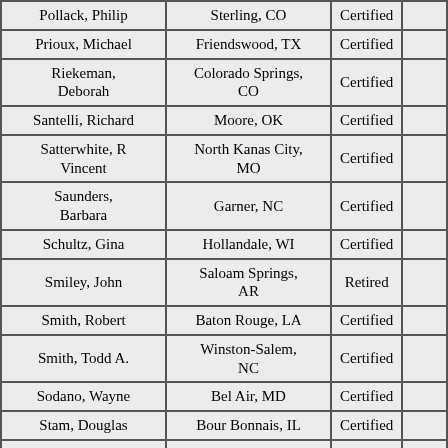| Name | Location | Status |  |
| --- | --- | --- | --- |
| Pollack, Philip | Sterling, CO | Certified |  |
| Prioux, Michael | Friendswood, TX | Certified |  |
| Riekeman, Deborah | Colorado Springs, CO | Certified |  |
| Santelli, Richard | Moore, OK | Certified |  |
| Satterwhite, R Vincent | North Kanas City, MO | Certified |  |
| Saunders, Barbara | Garner, NC | Certified |  |
| Schultz, Gina | Hollandale, WI | Certified |  |
| Smiley, John | Saloam Springs, AR | Retired |  |
| Smith, Robert | Baton Rouge, LA | Certified |  |
| Smith, Todd A. | Winston-Salem, NC | Certified |  |
| Sodano, Wayne | Bel Air, MD | Certified |  |
| Stam, Douglas | Bour Bonnais, IL | Certified |  |
| Stone, Michael | Tucson, AZ | Certified |  |
| Strauman, Charles | Minneapolis, MN | Certified |  |